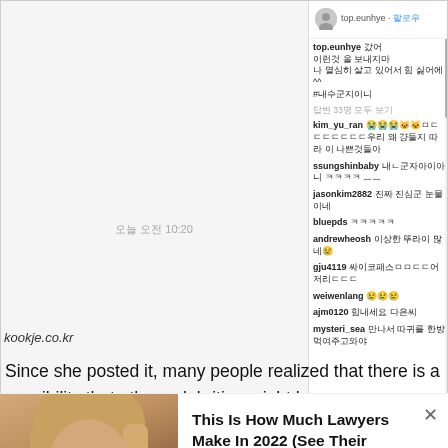[Figure (screenshot): Split-screen screenshot: left side shows a Korean messaging app with a chat bubble reading '안녕하세요 장기적인 스폰서 의향 있으시면 연락부탁합니다.' with timestamp '오늘 오전 10:20'; right side shows an Instagram comments section with username 'top.eunhye' and various Korean comments, 240 likes shown.]
kookje.co.kr
Since she posted it, many people realized that there is a possibility that other celebrities might have sponsors too. This topic quickly became the talk of the town and her name
[Figure (photo): Advertisement overlay showing a blonde woman's photo on the left with ad text: 'This Is How Much Lawyers Make In 2022 (See Their Salary). Attorneys | Search Ads | Sponsored']